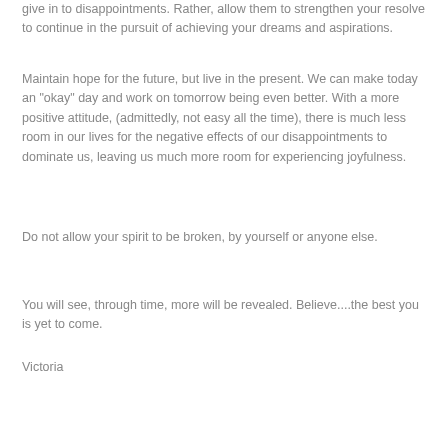give in to disappointments. Rather, allow them to strengthen your resolve to continue in the pursuit of achieving your dreams and aspirations.
Maintain hope for the future, but live in the present. We can make today an "okay" day and work on tomorrow being even better. With a more positive attitude, (admittedly, not easy all the time), there is much less room in our lives for the negative effects of our disappointments to dominate us, leaving us much more room for experiencing joyfulness.
Do not allow your spirit to be broken, by yourself or anyone else.
You will see, through time, more will be revealed. Believe....the best you is yet to come.
Victoria